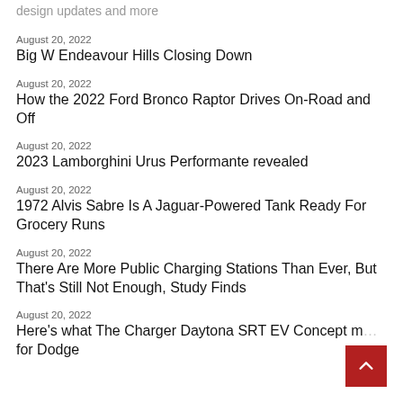design updates and more
August 20, 2022
Big W Endeavour Hills Closing Down
August 20, 2022
How the 2022 Ford Bronco Raptor Drives On-Road and Off
August 20, 2022
2023 Lamborghini Urus Performante revealed
August 20, 2022
1972 Alvis Sabre Is A Jaguar-Powered Tank Ready For Grocery Runs
August 20, 2022
There Are More Public Charging Stations Than Ever, But That's Still Not Enough, Study Finds
August 20, 2022
Here's what The Charger Daytona SRT EV Concept m… for Dodge